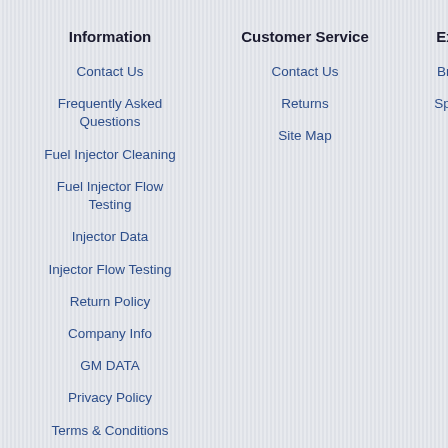Information
Contact Us
Frequently Asked Questions
Fuel Injector Cleaning
Fuel Injector Flow Testing
Injector Data
Injector Flow Testing
Return Policy
Company Info
GM DATA
Privacy Policy
Terms & Conditions
Customer Service
Contact Us
Returns
Site Map
Extra
Brand
Specia